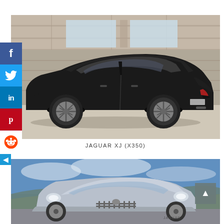[Figure (photo): Black Jaguar XJ (X350) luxury sedan photographed from the side against a stone building background]
JAGUAR XJ (X350)
[Figure (photo): Silver/light blue Jaguar XJ luxury sedan photographed outdoors with blue sky and hills in background, JAGUAR badge visible]